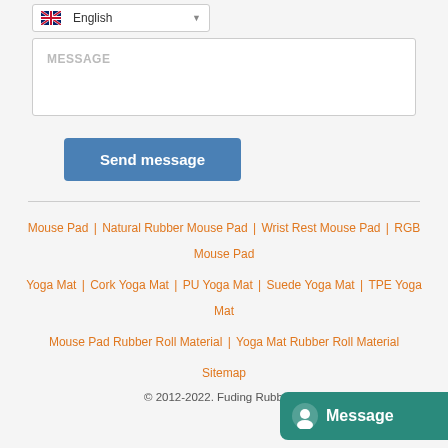[Figure (screenshot): Language dropdown selector showing English with UK flag icon]
[Figure (screenshot): Message text input box with placeholder text MESSAGE]
Send message
Mouse Pad | Natural Rubber Mouse Pad | Wrist Rest Mouse Pad | RGB Mouse Pad
Yoga Mat | Cork Yoga Mat | PU Yoga Mat | Suede Yoga Mat | TPE Yoga Mat
Mouse Pad Rubber Roll Material | Yoga Mat Rubber Roll Material
Sitemap
© 2012-2022. Fuding Rubber &
[Figure (screenshot): Teal Message chat button with speech bubble icon on bottom right]